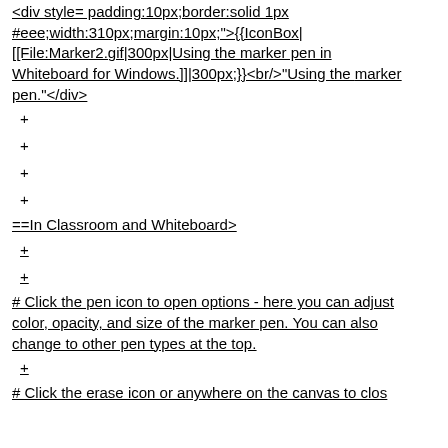<div style= padding:10px;border:solid 1px #eee;width:310px;margin:10px;">{{IconBox|[[File:Marker2.gif|300px|Using the marker pen in Whiteboard for Windows.]]|300px;}}<br/>"Using the marker pen."</div>
+
+
+
+
==In Classroom and Whiteboard Online==
+
+
# Click the pen icon to open options - here you can adjust color, opacity, and size of the marker pen. You can also change to other pen types at the top.
+
# Click the erase icon or anywhere on the canvas to close